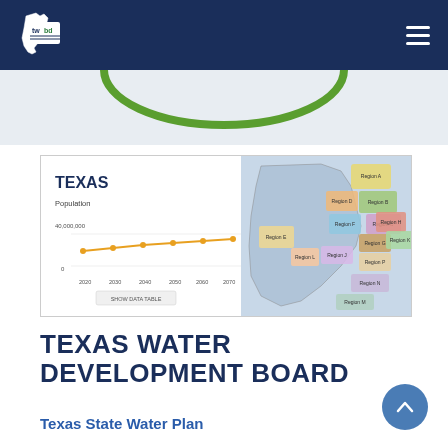Texas Water Development Board — navigation bar with logo and hamburger menu
[Figure (screenshot): Screenshot of the Texas Water Development Board website showing a population line chart for Texas (2020-2070, reaching ~46,000,000) on the left and a color-coded regional map of Texas on the right with labels: Region A, Region B, Region C, Region D, Region E, Region F, Region G, Region H, Region I, Region J, Region K, Region L, Region M, Region N, Region P]
TEXAS WATER DEVELOPMENT BOARD
Texas State Water Plan